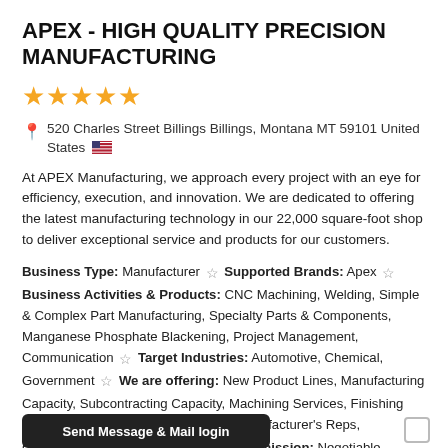APEX - HIGH QUALITY PRECISION MANUFACTURING
[Figure (other): Five gold star rating icons]
520 Charles Street Billings Billings, Montana MT 59101 United States 🇺🇸
At APEX Manufacturing, we approach every project with an eye for efficiency, execution, and innovation. We are dedicated to offering the latest manufacturing technology in our 22,000 square-foot shop to deliver exceptional service and products for our customers.
Business Type: Manufacturer ☆ Supported Brands: Apex ☆ Business Activities & Products: CNC Machining, Welding, Simple & Complex Part Manufacturing, Specialty Parts & Components, Manganese Phosphate Blackening, Project Management, Communication ☆ Target Industries: Automotive, Chemical, Government ☆ We are offering: New Product Lines, Manufacturing Capacity, Subcontracting Capacity, Machining Services, Finishing Services ☆ We are searching for: Manufacturer's Reps, Commission Only Sales Agents ☆ Commission: Negotiable
[Figure (other): Dark button partially visible at bottom reading 'Send Message & Mail login']